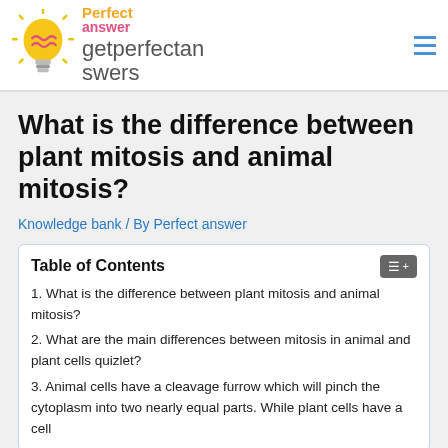getperfectanswers
What is the difference between plant mitosis and animal mitosis?
Knowledge bank / By Perfect answer
| Table of Contents |
| --- |
| 1. What is the difference between plant mitosis and animal mitosis? |
| 2. What are the main differences between mitosis in animal and plant cells quizlet? |
| 3. Animal cells have a cleavage furrow which will pinch the cytoplasm into two nearly equal parts. While plant cells have a cell |